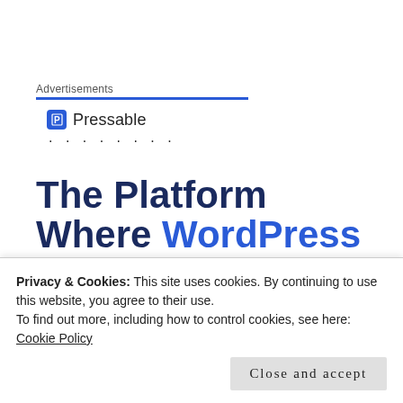Advertisements
[Figure (logo): Pressable logo with blue P icon and company name, followed by dots]
The Platform Where WordPress Works Best
Privacy & Cookies: This site uses cookies. By continuing to use this website, you agree to their use. To find out more, including how to control cookies, see here: Cookie Policy
treating humans well by allowing them to progress.